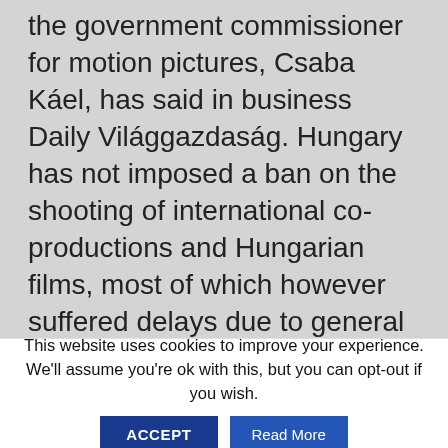the government commissioner for motion pictures, Csaba Káel, has said in business Daily Világgazdaság. Hungary has not imposed a ban on the shooting of international co-productions and Hungarian films, most of which however suffered delays due to general restrictions related to the epidemic, Káel said. The shooting of 10 state-funded feature-length films will start this year and post-production is under way for another 16, the paper said. The shooting of international co-productions was expected to be resumed in line with the lifting of travel restrictions. Films under production in
This website uses cookies to improve your experience. We'll assume you're ok with this, but you can opt-out if you wish.